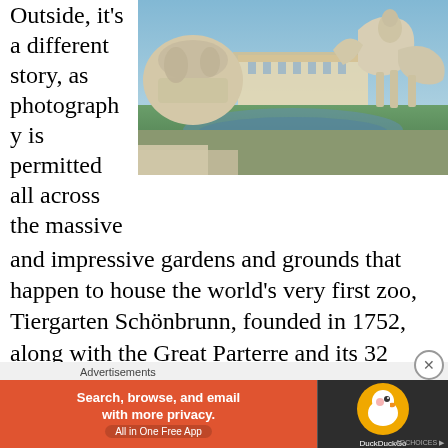Outside, it's a different story, as photography is permitted all across the massive
[Figure (photo): Photograph of ornate stone sculptures with horses and figures at Schönbrunn Palace fountain, with the palace visible in the background and water features]
and impressive gardens and grounds that happen to house the world's very first zoo, Tiergarten Schönbrunn, founded in 1752, along with the Great Parterre and its 32 sculptures, Neptune's Fountain and the Gloriette on top of the hill.
Advertisements
[Figure (screenshot): DuckDuckGo advertisement banner: 'Search, browse, and email with more privacy. All in One Free App' on orange background with DuckDuckGo logo on dark background]